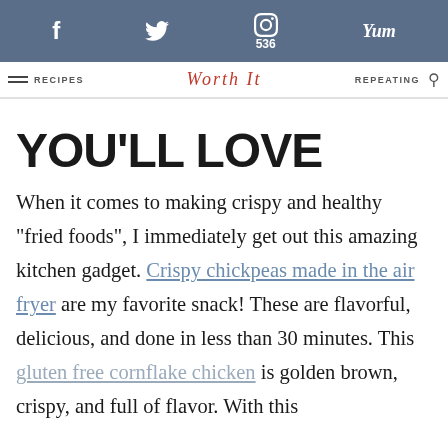f  Twitter  p 536  Yum
RECIPES  Worth It  REPEATING
YOU'LL LOVE
When it comes to making crispy and healthy "fried foods", I immediately get out this amazing kitchen gadget. Crispy chickpeas made in the air fryer are my favorite snack! These are flavorful, delicious, and done in less than 30 minutes. This gluten free cornflake chicken is golden brown, crispy, and full of flavor. With this